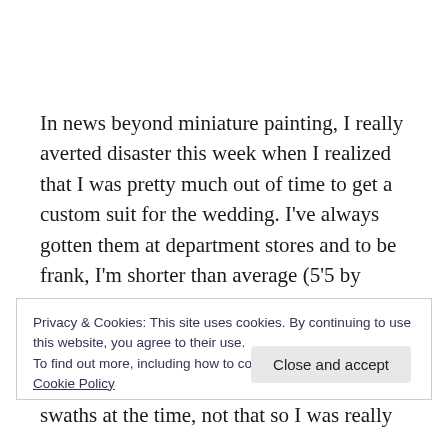In news beyond miniature painting, I really averted disaster this week when I realized that I was pretty much out of time to get a custom suit for the wedding. I've always gotten them at department stores and to be frank, I'm shorter than average (5'5 by American standards) and for some reason, I tend to find that clothes for men who are short tend to be too loose fitting and
Privacy & Cookies: This site uses cookies. By continuing to use this website, you agree to their use.
To find out more, including how to control cookies, see here: Cookie Policy
swaths at the time, not that so I was really